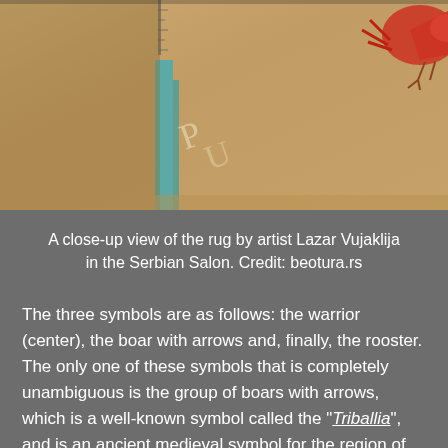[Figure (photo): A close-up view of a decorative rug with folk art motifs in warm golden/tan tones, showing what appears to be animal and warrior figures in red and other colors, with striped borders.]
A close-up view of the rug by artist Lazar Vujaklija in the Serbian Salon. Credit: beotura.rs
The three symbols are as follows: the warrior (center), the boar with arrows and, finally, the rooster. The only one of these symbols that is completely unambiguous is the group of boars with arrows, which is a well-known symbol called the "Triballia", and is an ancient medieval symbol for the region of central Serbia, particularly Šumadija. The symbol of the warrior, who bears a horn and bow and arrow, on the central rug is described by sources as being a "warrior who never